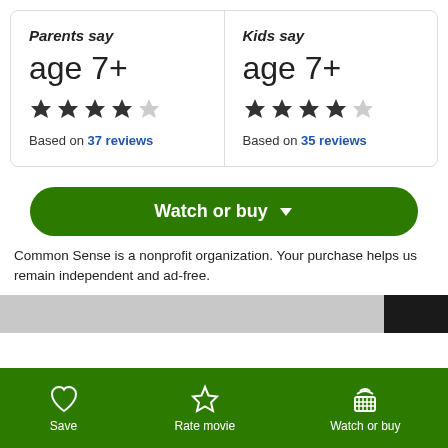Parents say
age 7+
[Figure (other): 4 out of 5 stars rating]
Based on 37 reviews
Kids say
age 7+
[Figure (other): 4 out of 5 stars rating]
Based on 35 reviews
Watch or buy
Common Sense is a nonprofit organization. Your purchase helps us remain independent and ad-free.
Save   Rate movie   Watch or buy